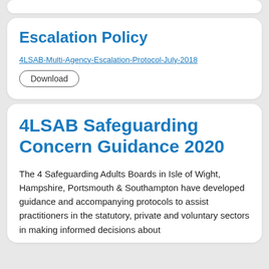Escalation Policy
4LSAB-Multi-Agency-Escalation-Protocol-July-2018
Download
4LSAB Safeguarding Concern Guidance 2020
The 4 Safeguarding Adults Boards in Isle of Wight, Hampshire, Portsmouth & Southampton have developed guidance and accompanying protocols to assist practitioners in the statutory, private and voluntary sectors in making informed decisions about